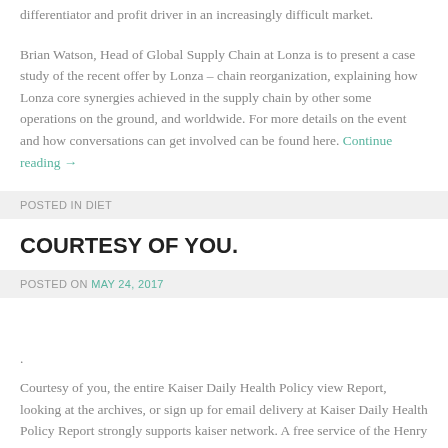differentiator and profit driver in an increasingly difficult market.
Brian Watson, Head of Global Supply Chain at Lonza is to present a case study of the recent offer by Lonza – chain reorganization, explaining how Lonza core synergies achieved in the supply chain by other some operations on the ground, and worldwide. For more details on the event and how conversations can get involved can be found here. Continue reading →
POSTED IN DIET
COURTESY OF YOU.
POSTED ON MAY 24, 2017
.
Courtesy of you, the entire Kaiser Daily Health Policy view Report, looking at the archives, or sign up for email delivery at Kaiser Daily Health Policy Report strongly supports kaiser network. A free service of the Henry J. Released, Kaiser Family